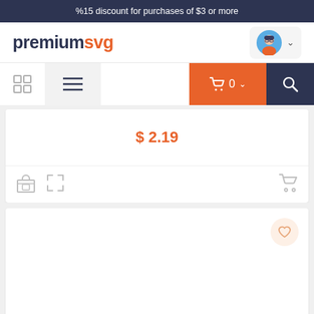%15 discount for purchases of $3 or more
[Figure (logo): premiumsvg logo with user avatar and dropdown]
[Figure (screenshot): Navigation bar with grid icon, hamburger menu, cart button showing 0 items, and search icon]
$2.19
[Figure (screenshot): Product card bottom row with shop icon, expand icon on left and cart icon on right]
[Figure (screenshot): Second product card with heart/wishlist button in top right corner]